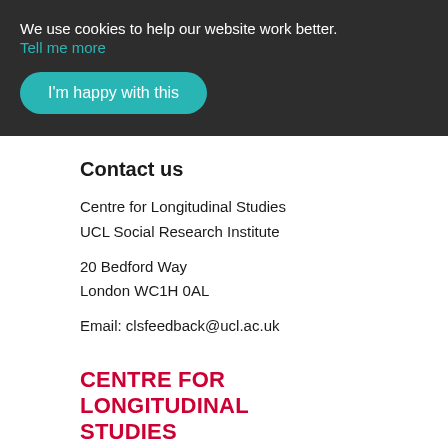We use cookies to help our website work better. Tell me more
I'm happy with this
Contact us
Centre for Longitudinal Studies
UCL Social Research Institute

20 Bedford Way
London WC1H 0AL

Email: clsfeedback@ucl.ac.uk
CENTRE FOR LONGITUDINAL STUDIES